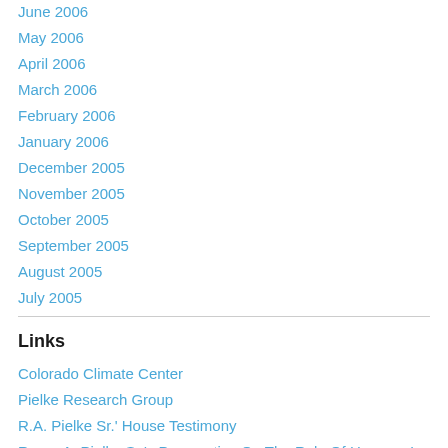June 2006
May 2006
April 2006
March 2006
February 2006
January 2006
December 2005
November 2005
October 2005
September 2005
August 2005
July 2005
Links
Colorado Climate Center
Pielke Research Group
R.A. Pielke Sr.' House Testimony
Roger A. Pielke Sr.'s Perspective On The Role Of Humans In Climate